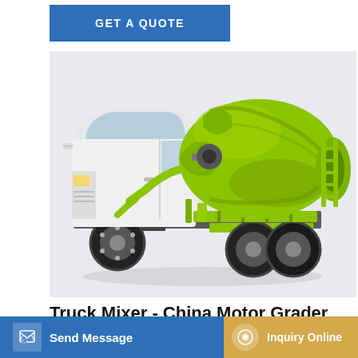GET A QUOTE
[Figure (photo): A concrete mixer truck with white cab and bright green rotating drum mixer mounted on the rear, showing a side-angled view of the vehicle.]
Truck Mixer - China Motor Grader manufacturer, Excavator
12m3 Concrete Mixer Truck G12K-3 Mobile Cement Mix Truck FOB Price: US $108,000 / Piece. Min. Video. Concrete Mixer Machine 12m3 Large Capacity Cement Mixer
Send Message
Inquiry Online